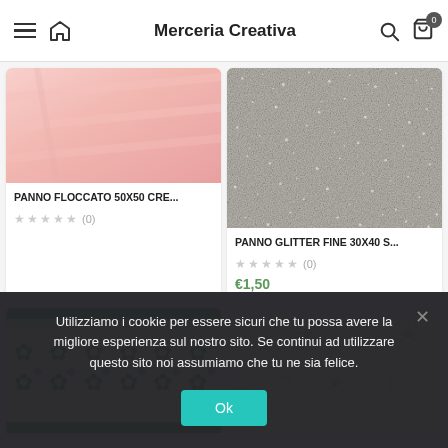Merceria Creativa
[Figure (photo): Product card: PANNO FLOCCATO 50X50 CRE... - pink flocked felt fabric, 5 grey stars, (0) reviews]
[Figure (photo): Product card: PANNO GLITTER FINE 30X40 S... - grey glitter fabric texture, 5 grey stars, (0) reviews, price €1,50]
[Figure (photo): Product card bottom left: green nordic/fair-isle patterned fabric with snowflake motifs]
[Figure (photo): Product card bottom right: cream fabric with gold moon and star pattern]
Utilizziamo i cookie per essere sicuri che tu possa avere la migliore esperienza sul nostro sito. Se continui ad utilizzare questo sito noi assumiamo che tu ne sia felice.